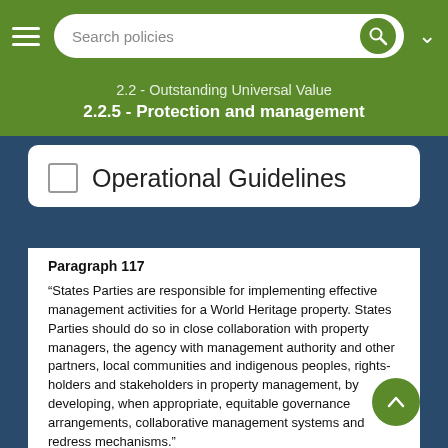Search policies
2.2 - Outstanding Universal Value
2.2.5 - Protection and management
Operational Guidelines
Paragraph 117
“States Parties are responsible for implementing effective management activities for a World Heritage property. States Parties should do so in close collaboration with property managers, the agency with management authority and other partners, local communities and indigenous peoples, rights-holders and stakeholders in property management, by developing, when appropriate, equitable governance arrangements, collaborative management systems and redress mechanisms.”
Theme:   2.2.5.3 - Management systems